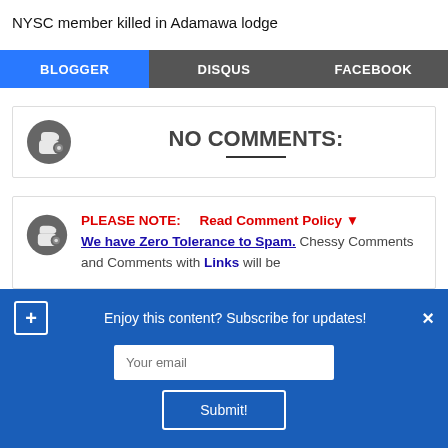NYSC member killed in Adamawa lodge
BLOGGER | DISQUS | FACEBOOK
NO COMMENTS:
PLEASE NOTE: Read Comment Policy ▼ We have Zero Tolerance to Spam. Chessy Comments and Comments with Links will be
Enjoy this content? Subscribe for updates!